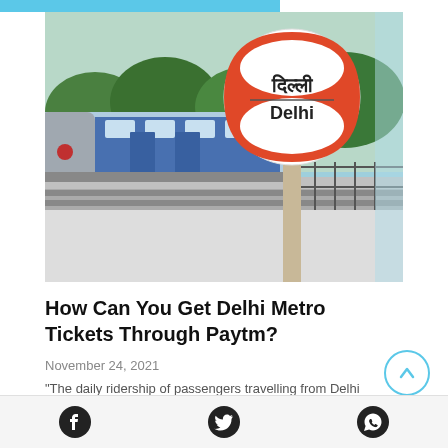[Figure (photo): Delhi Metro train on elevated track with a Delhi metro station sign (showing दिल्ली / Delhi) in the foreground, surrounded by green trees]
How Can You Get Delhi Metro Tickets Through Paytm?
November 24, 2021
“The daily ridership of passengers travelling from Delhi
Social share icons: Facebook, Twitter, WhatsApp